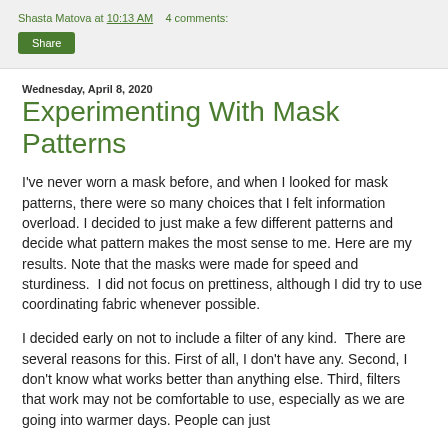Shasta Matova at 10:13 AM   4 comments:
Share
Wednesday, April 8, 2020
Experimenting With Mask Patterns
I've never worn a mask before, and when I looked for mask patterns, there were so many choices that I felt information overload. I decided to just make a few different patterns and decide what pattern makes the most sense to me. Here are my results. Note that the masks were made for speed and sturdiness.  I did not focus on prettiness, although I did try to use coordinating fabric whenever possible.
I decided early on not to include a filter of any kind.  There are several reasons for this. First of all, I don't have any. Second, I don't know what works better than anything else. Third, filters that work may not be comfortable to use, especially as we are going into warmer days. People can just